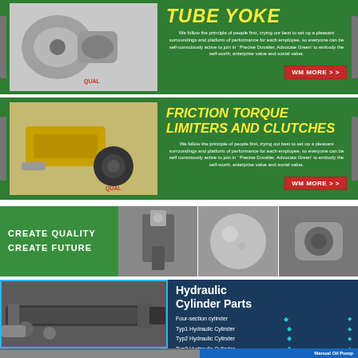TUBE YOKE
We follow the principle of people first, trying our best to set up a pleasant surroundings and platform of performance for each employee, so everyone can be self-consciously active to join in 'Precise Duvalier, Advocate Green' to embody the self-worth, enterprise value and social value.
WM MORE > >
[Figure (photo): Metal tube yoke mechanical components - two pieces of cast metal yoke connectors]
FRICTION TORQUE LIMITERS AND CLUTCHES
We follow the principle of people first, trying our best to set up a pleasant surroundings and platform of performance for each employee, so everyone can be self-consciously active to join in 'Precise Duvalier, Advocate Green' to embody the self-worth, enterprise value and social value.
WM MORE > >
[Figure (photo): Friction torque limiters and clutches - yellow/gold mechanical coupling components]
CREATE QUALITY
CREATE FUTURE
[Figure (photo): Three manufacturing/machining images: CNC milling, precision ball, and cylindrical part machining]
Hydraulic Cylinder Parts
Four-section cylinder
Typ1 Hydraulic Cylinder
Typ2 Hydraulic Cylinder
Typ3 Hydraulic Cylinder
Typ4 Hydraulic Cylinder
[Figure (photo): Hydraulic cylinder assembly - large industrial hydraulic cylinder with fittings]
Manual Oil Pump
[Figure (photo): Manual oil pump components at bottom of page]